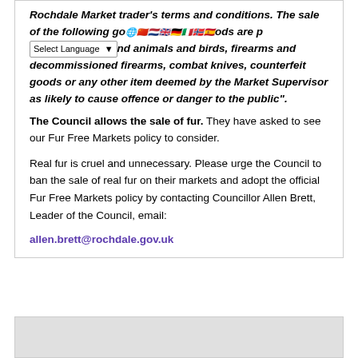Rochdale Market trader's terms and conditions. The sale of the following goods are prohibited, live animals and birds, firearms and decommissioned firearms, combat knives, counterfeit goods or any other item deemed by the Market Supervisor as likely to cause offence or danger to the public".
The Council allows the sale of fur. They have asked to see our Fur Free Markets policy to consider.
Real fur is cruel and unnecessary. Please urge the Council to ban the sale of real fur on their markets and adopt the official Fur Free Markets policy by contacting Councillor Allen Brett, Leader of the Council, email: allen.brett@rochdale.gov.uk